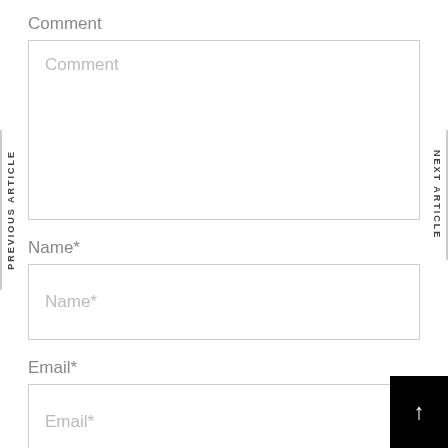Comment
Comment
Name*
Name*
Email*
Email*
PREVIOUS ARTICLE
NEXT ARTICLE